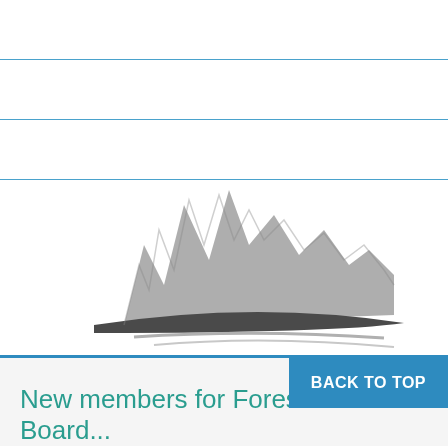Our Work
Resources
Contact
[Figure (logo): Organization logo with jagged mountain/pulse-line silhouette in gray above a dark swooping landform shape and lighter gray curved lines below]
New members for Fores... Board...
BACK TO TOP